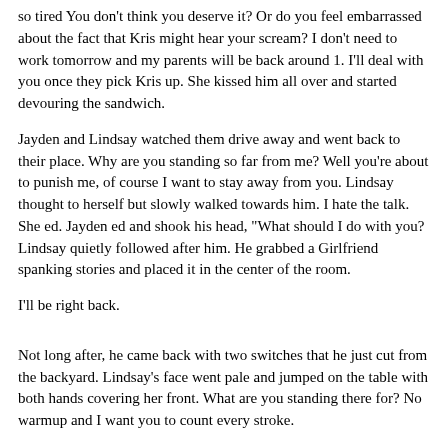so tired You don't think you deserve it? Or do you feel embarrassed about the fact that Kris might hear your scream? I don't need to work tomorrow and my parents will be back around 1. I'll deal with you once they pick Kris up. She kissed him all over and started devouring the sandwich.
Jayden and Lindsay watched them drive away and went back to their place. Why are you standing so far from me? Well you're about to punish me, of course I want to stay away from you. Lindsay thought to herself but slowly walked towards him. I hate the talk. She ed. Jayden ed and shook his head, "What should I do with you? Lindsay quietly followed after him. He grabbed a Girlfriend spanking stories and placed it in the center of the room.
I'll be right back.
Not long after, he came back with two switches that he just cut from the backyard. Lindsay's face went pale and jumped on the table with both hands covering her front. What are you standing there for? No warmup and I want you to count every stroke.
Loud and clear. I can't take it Is that what you want? She